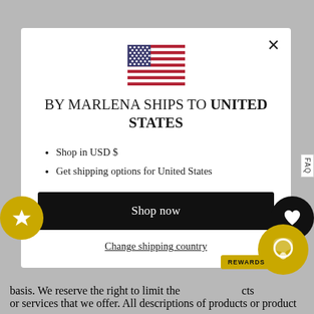[Figure (screenshot): US flag emoji/illustration centered at top of modal]
BY MARLENA SHIPS TO UNITED STATES
Shop in USD $
Get shipping options for United States
Shop now
Change shipping country
basis. We reserve the right to limit the quantities of any products or services that we offer. All descriptions of products or product